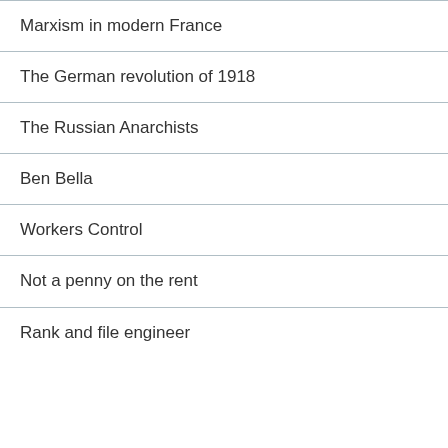Marxism in modern France
The German revolution of 1918
The Russian Anarchists
Ben Bella
Workers Control
Not a penny on the rent
Rank and file engineer